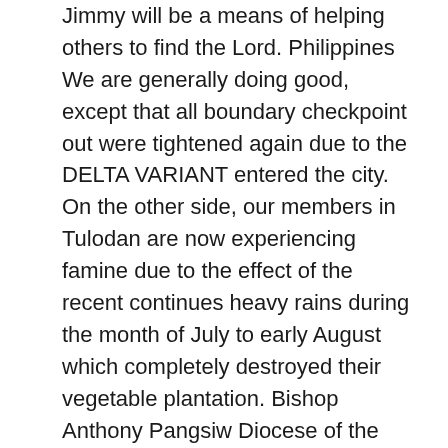Jimmy will be a means of helping others to find the Lord. Philippines We are generally doing good, except that all boundary checkpoint out were tightened again due to the DELTA VARIANT entered the city. On the other side, our members in Tulodan are now experiencing famine due to the effect of the recent continues heavy rains during the month of July to early August which completely destroyed their vegetable plantation. Bishop Anthony Pangsiw Diocese of the Epiphany Saint Paul's Moberly, Missouri would like your prayers that the Holy Ghost might enter more fully into their hearts so that they might be more effective in spreading the Word of God. Diocese of Virginia Saint Joseph of Arimathea Anglican Orthodox Church is under a lot of stress. We all are, but they need even more prayer. Rev Roger